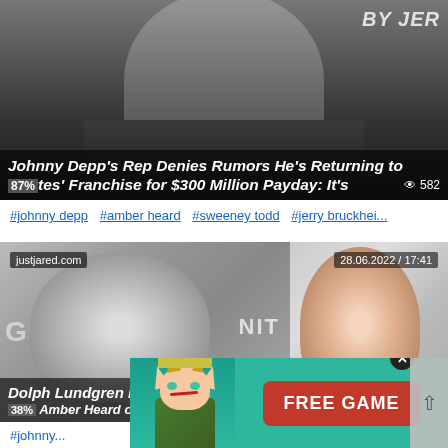[Figure (photo): Article card showing Johnny Depp with overlay text about returning to Pirates franchise for $300 Million. Shows a man with round glasses and beard against dark background. Source watermark 'BY JER' visible top right.]
Johnny Depp's Rep Denies Rumors He's Returning to 87% tes' Franchise for $300 Million Payday: It's 582
#johnny depp  #amber heard  #sweeney todd  #jerry bruckhei...
[Figure (photo): Article card showing Dolph Lundgren on left and Amber Heard on right. Source: justjared.com, date 28.06.2022 / 17:41. Title: Dolph Lundgren Reveals What It Was Like Working 38% Amber Heard on Aquaman. 558 views.]
Dolph Lundgren Reveals What It Was Like Working 38% Amber Heard on Aquaman Ch... 558
#johnny...
[Figure (illustration): Advertisement overlay with green background showing a fantasy game character (elf/warrior) on the left and a red FREE GAME button on the right. X close button visible.]